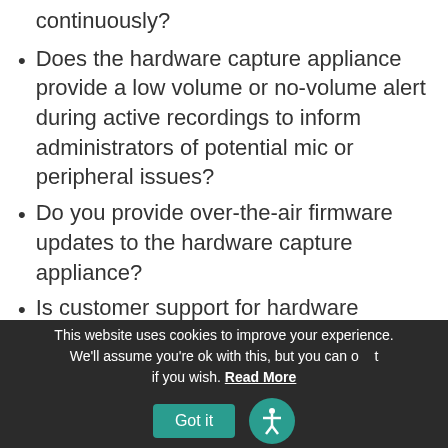continuously?
Does the hardware capture appliance provide a low volume or no-volume alert during active recordings to inform administrators of potential mic or peripheral issues?
Do you provide over-the-air firmware updates to the hardware capture appliance?
Is customer support for hardware capture appliances included at no additional cost?
This website uses cookies to improve your experience. We'll assume you're ok with this, but you can opt out if you wish. Read More  Got it